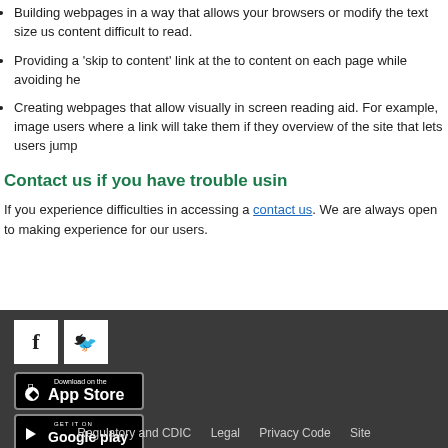Building webpages in a way that allows your browsers or modify the text size us content difficult to read.
Providing a 'skip to content' link at the to content on each page while avoiding he
Creating webpages that allow visually in screen reading aid. For example, image users where a link will take them if they overview of the site that lets users jump
Contact us if you have trouble usin
If you experience difficulties in accessing a contact us. We are always open to making experience for our users.
[Figure (logo): Facebook and Twitter social media icons in white squares]
[Figure (logo): Download on the App Store badge (black)]
[Figure (logo): Get it on Google Play badge (black)]
Regulatory and CDIC   Legal   Privacy Code   Site